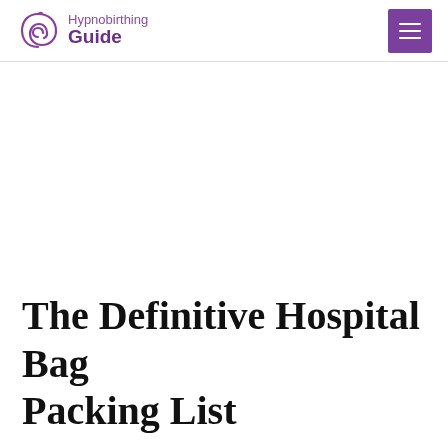Hypnobirthing Guide
The Definitive Hospital Bag Packing List